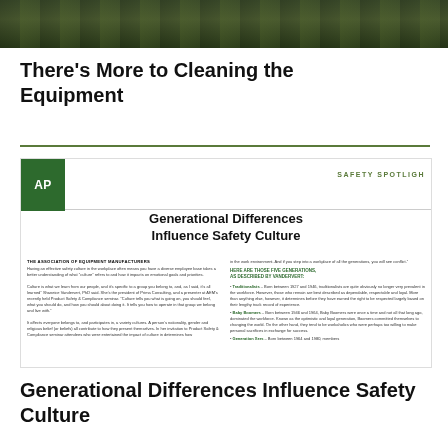[Figure (photo): Dark outdoor photo showing farm equipment or machinery in a green/dark setting]
There’s More to Cleaning the Equipment
[Figure (screenshot): Screenshot of an article titled 'Generational Differences Influence Safety Culture' from a Safety Spotlight publication with AP logo, showing article text in two columns about generational differences in workplace safety culture]
Generational Differences Influence Safety Culture